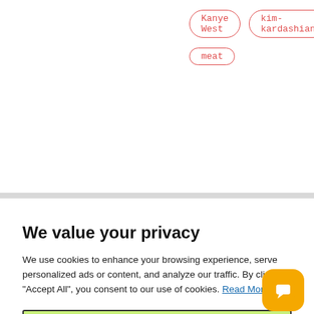Kanye West
kim-kardashian
meat
We value your privacy
We use cookies to enhance your browsing experience, serve personalized ads or content, and analyze our traffic. By clicking "Accept All", you consent to our use of cookies. Read More
Accept All
Customize
Reject All